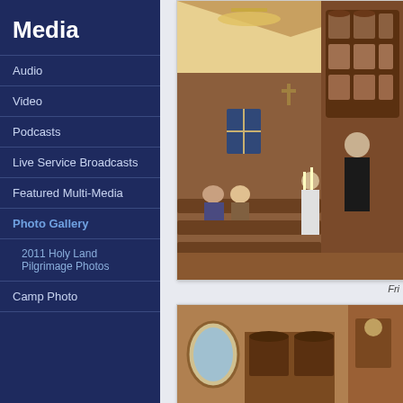Media
Audio
Video
Podcasts
Live Service Broadcasts
Featured Multi-Media
Photo Gallery
2011 Holy Land Pilgrimage Photos
Camp Photo
[Figure (photo): Interior of an Orthodox church with wooden pews, iconostasis with icons, and a chandelier. People are seated in pews during a service.]
Fri
[Figure (photo): Partial view of church interior showing wooden furniture and religious items.]